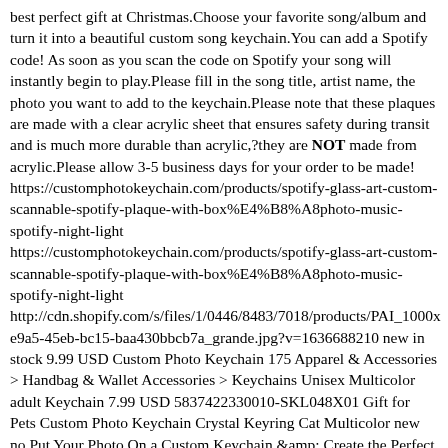best perfect gift at Christmas.Choose your favorite song/album and turn it into a beautiful custom song keychain.You can add a Spotify code! As soon as you scan the code on Spotify your song will instantly begin to play.Please fill in the song title, artist name, the photo you want to add to the keychain.Please note that these plaques are made with a clear acrylic sheet that ensures safety during transit and is much more durable than acrylic,?they are NOT made from acrylic.Please allow 3-5 business days for your order to be made! https://customphotokeychain.com/products/spotify-glass-art-custom-scannable-spotify-plaque-with-box%E4%B8%A8photo-music-spotify-night-light https://customphotokeychain.com/products/spotify-glass-art-custom-scannable-spotify-plaque-with-box%E4%B8%A8photo-music-spotify-night-light http://cdn.shopify.com/s/files/1/0446/8483/7018/products/PAI_1000x e9a5-45eb-bc15-baa430bbcb7a_grande.jpg?v=1636688210 new in stock 9.99 USD Custom Photo Keychain 175 Apparel & Accessories > Handbag & Wallet Accessories > Keychains Unisex Multicolor adult Keychain 7.99 USD 5837422330010-SKL048X01 Gift for Pets Custom Photo Keychain Crystal Keyring Cat Multicolor new no Put Your Photo On a Custom Keychain &amp; Create the Perfect Gift!Customized with your own photo to be unique and creativeCharming accessory for yourselfPerfect gift choice for Valentine's Day, birthday and Christmas